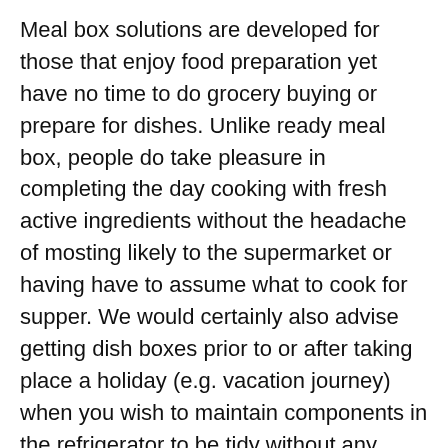Meal box solutions are developed for those that enjoy food preparation yet have no time to do grocery buying or prepare for dishes. Unlike ready meal box, people do take pleasure in completing the day cooking with fresh active ingredients without the headache of mosting likely to the supermarket or having have to assume what to cook for supper. We would certainly also advise getting dish boxes prior to or after taking place a holiday (e.g. vacation journey) when you wish to maintain components in the refrigerator to be tidy without any remaining veggies!
4. Easy to cancel or avoid your orders
It is very important for me to advise you that